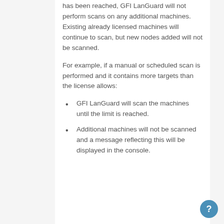has been reached, GFI LanGuard will not perform scans on any additional machines.  Existing already licensed machines will continue to scan, but new nodes added will not be scanned.
For example, if a manual or scheduled scan is performed and it contains more targets than the license allows:
GFI LanGuard will scan the machines until the limit is reached.
Additional machines will not be scanned and a message reflecting this will be displayed in the console.